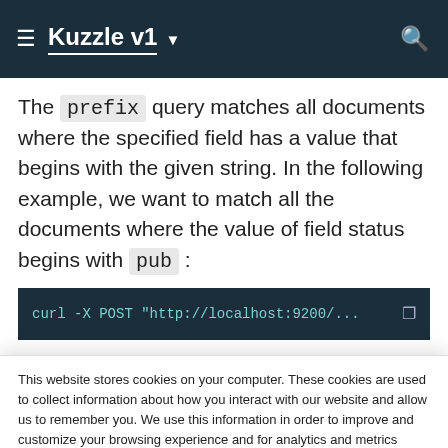Kuzzle v1
The prefix query matches all documents where the specified field has a value that begins with the given string. In the following example, we want to match all the documents where the value of field status begins with pub:
[Figure (screenshot): Partial code block showing a dark-themed code snippet starting with 'curl -X POST http://localhost:9200/...']
This website stores cookies on your computer. These cookies are used to collect information about how you interact with our website and allow us to remember you. We use this information in order to improve and customize your browsing experience and for analytics and metrics about our visitors both on this website and other media. To find out more about the cookies we use, see our Privacy Policy.
If you decline, your information won't be tracked when you visit this website. A single cookie will be used in your browser to remember your preference not to be tracked.
Services we would like to use   Accept   Decline